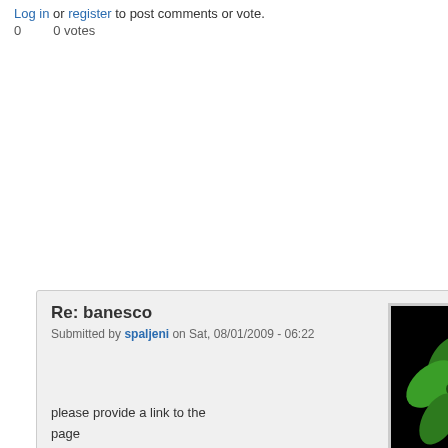Log in or register to post comments or vote.
0   0 votes
Re: banesco
Submitted by spaljeni on Sat, 08/01/2009 - 06:22
[Figure (illustration): Cartoon green marijuana leaf character with smirking face on black background]
please provide a link to the page
log in or register to post comments
Search site
<All>
Background
Blog entry
Book page
Search
Navigation
Blogs
Forums
Online users
Recent content
User login
Username *